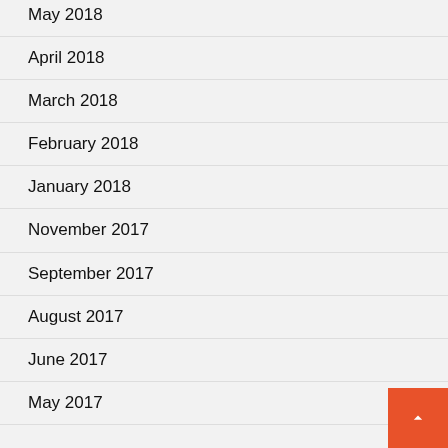May 2018
April 2018
March 2018
February 2018
January 2018
November 2017
September 2017
August 2017
June 2017
May 2017